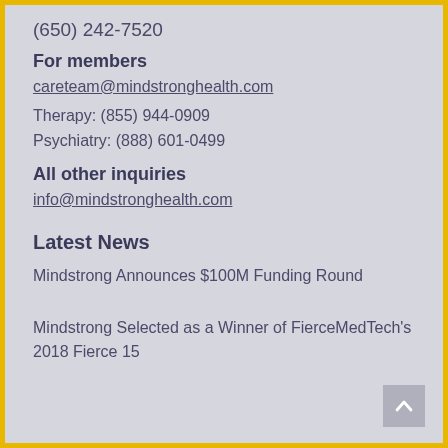(650) 242-7520
For members
careteam@mindstronghealth.com
Therapy: (855) 944-0909
Psychiatry: (888) 601-0499
All other inquiries
info@mindstronghealth.com
Latest News
Mindstrong Announces $100M Funding Round
Mindstrong Selected as a Winner of FierceMedTech's 2018 Fierce 15